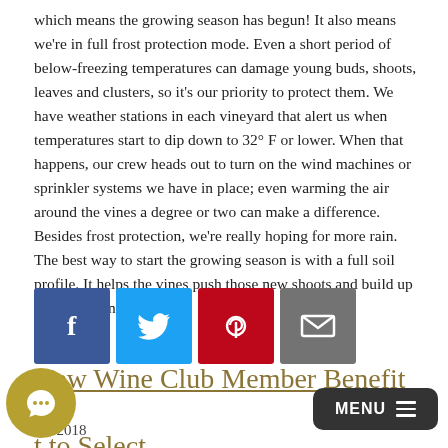which means the growing season has begun! It also means we're in full frost protection mode. Even a short period of below-freezing temperatures can damage young buds, shoots, leaves and clusters, so it's our priority to protect them. We have weather stations in each vineyard that alert us when temperatures start to dip down to 32° F or lower. When that happens, our crew heads out to turn on the wind machines or sprinkler systems we have in place; even warming the air around the vines a degree or two can make a difference. Besides frost protection, we're really hoping for more rain. The best way to start the growing season is with a full soil profile. It helps the vines push those new shoots and build up a healthy canopy.
[Figure (infographic): Row of four social media sharing icons: Facebook (blue), Twitter (light blue), Pinterest (red), Email (gray)]
New Wine Club Member Benefit – t to Select
12, 2018